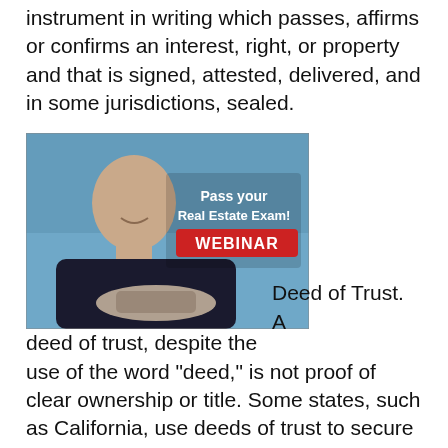instrument in writing which passes, affirms or confirms an interest, right, or property and that is signed, attested, delivered, and in some jurisdictions, sealed.
[Figure (photo): A bald man smiling, holding a hat, with text overlay: 'Pass your Real Estate Exam! WEBINAR' on a red banner, blue background.]
Deed of Trust. A deed of trust, despite the use of the word "deed," is not proof of clear ownership or title. Some states, such as California, use deeds of trust to secure a home loan instead of a mortgage.
In real estate in the United States, a deed of trust or trust deed is a deed wherein equitable title...A